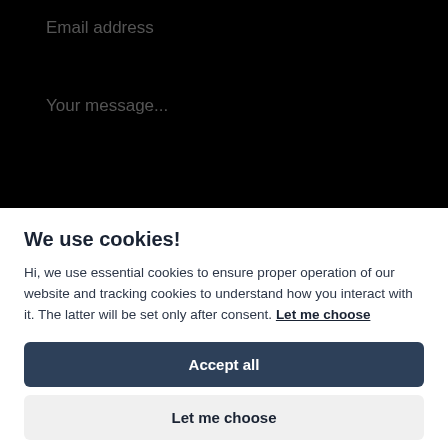[Figure (screenshot): Dark form area showing email address input field placeholder and message textarea placeholder on black background]
We use cookies!
Hi, we use essential cookies to ensure proper operation of our website and tracking cookies to understand how you interact with it. The latter will be set only after consent. Let me choose
Accept all
Let me choose